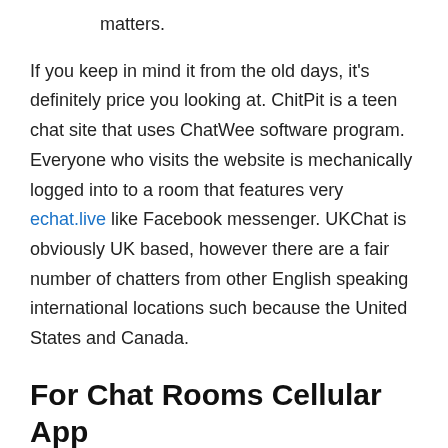matters.
If you keep in mind it from the old days, it's definitely price you looking at. ChitPit is a teen chat site that uses ChatWee software program. Everyone who visits the website is mechanically logged into to a room that features very echat.live like Facebook messenger. UKChat is obviously UK based, however there are a fair number of chatters from other English speaking international locations such because the United States and Canada.
For Chat Rooms Cellular App Coming Soon
Private present function that gives you an unique chat room for personal messages along with your most well-liked mannequin. Well, we simply can't get enough of Chatmate considering other substandard chat sites we've seen round within the trade. The Chatmate fashions are super-fun, friendly, and fairly sensitive to